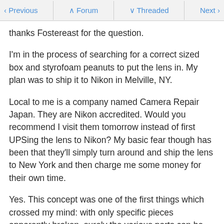Previous | Forum | Threaded | Next
thanks Fostereast for the question.
I'm in the process of searching for a correct sized box and styrofoam peanuts to put the lens in. My plan was to ship it to Nikon in Melville, NY.
Local to me is a company named Camera Repair Japan. They are Nikon accredited. Would you recommend I visit them tomorrow instead of first UPSing the lens to Nikon? My basic fear though has been that they'll simply turn around and ship the lens to New York and then charge me some money for their own time.
Yes. This concept was one of the first things which crossed my mind: with only specific pieces apparently broken, surely the various parts can be replaced. However, not known is how extensively damaged the non-viewable parts are, such as the focusing motor, or perhaps the fine-alignment of other portions of the lens.
Though I'd imaging no matter what direction is traveled, it won't be financially easy, my fingers are